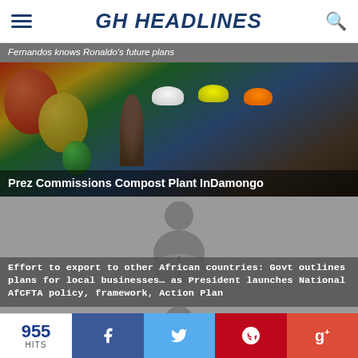GH HEADLINES
Fernandos knows Ronaldo's future plans
[Figure (photo): Photo of people at a ceremony with balloons and hard hats - Prez Commissions Compost Plant InDamongo]
Prez Commissions Compost Plant InDamongo
[Figure (illustration): Generic person reading newspaper icon on grey background]
Effort to export to other African countries: Govt outlines plans for local businesses… as President launches National AfCFTA policy, framework, Action Plan
[Figure (illustration): Generic person reading newspaper icon on grey background]
955 HITS
Facebook share button
Twitter share button
Pinterest share button
Google Plus share button